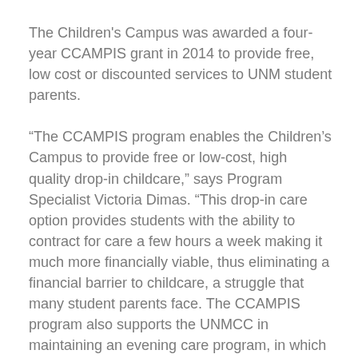The Children's Campus was awarded a four-year CCAMPIS grant in 2014 to provide free, low cost or discounted services to UNM student parents.
“The CCAMPIS program enables the Children’s Campus to provide free or low-cost, high quality drop-in childcare,” says Program Specialist Victoria Dimas. “This drop-in care option provides students with the ability to contract for care a few hours a week making it much more financially viable, thus eliminating a financial barrier to childcare, a struggle that many student parents face. The CCAMPIS program also supports the UNMCC in maintaining an evening care program, in which student parents have access to childcare until 10 p.m., Monday-Thursday, during the academic year.”
With childcare vital in allowing student-parents to balance school and family successfully, many directors like Daniela Ramos announced that CCAMPIS...